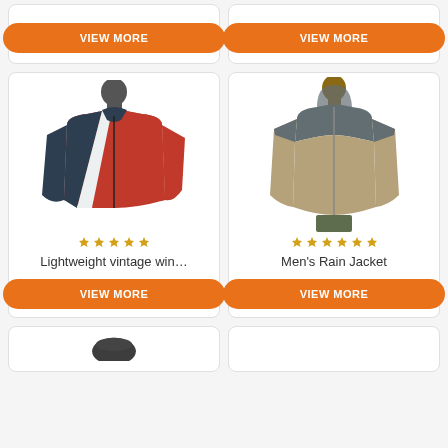[Figure (photo): Top-left card showing VIEW MORE button only]
[Figure (photo): Top-right card showing VIEW MORE button only]
[Figure (photo): Red and black vintage windbreaker jacket on mannequin]
Lightweight vintage win…
[Figure (photo): Men's tan/khaki rain jacket with gray hood on model]
Men's Rain Jacket
[Figure (photo): Bottom-left card partially visible showing a dark cap/hat]
[Figure (photo): Bottom-right card partially visible]